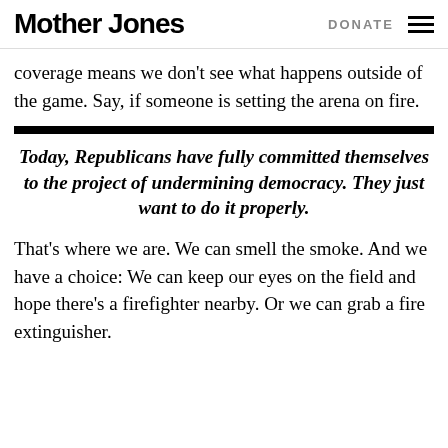Mother Jones | DONATE
coverage means we don't see what happens outside of the game. Say, if someone is setting the arena on fire.
Today, Republicans have fully committed themselves to the project of undermining democracy. They just want to do it properly.
That's where we are. We can smell the smoke. And we have a choice: We can keep our eyes on the field and hope there's a firefighter nearby. Or we can grab a fire extinguisher.